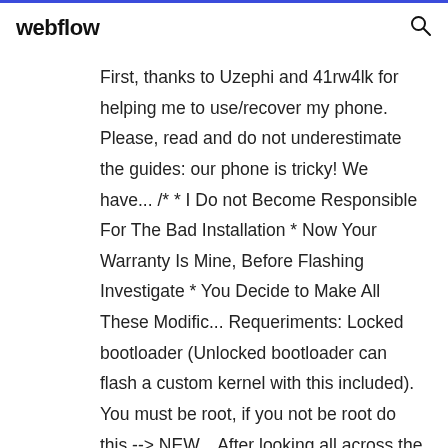webflow
First, thanks to Uzephi and 41rw4lk for helping me to use/recover my phone. Please, read and do not underestimate the guides: our phone is tricky! We have... /* * I Do not Become Responsible For The Bad Installation * Now Your Warranty Is Mine, Before Flashing Investigate * You Decide to Make All These Modific... Requeriments: Locked bootloader (Unlocked bootloader can flash a custom kernel with this included). You must be root, if you not be root do this --> NEW... After looking all across the internet on how to root one of these for a friend, I finally just tried what I did to my Hd 7" and it works, so here's what I... 1. Download it